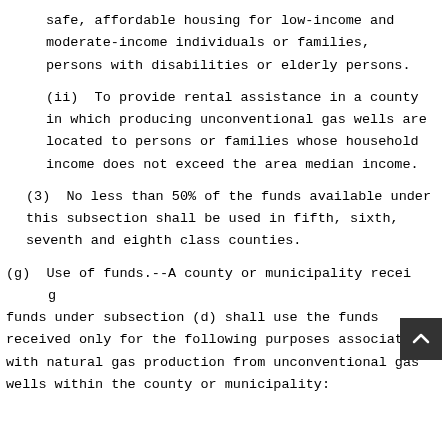safe, affordable housing for low-income and moderate-income individuals or families, persons with disabilities or elderly persons.
(ii)  To provide rental assistance in a county in which producing unconventional gas wells are located to persons or families whose household income does not exceed the area median income.
(3)  No less than 50% of the funds available under this subsection shall be used in fifth, sixth, seventh and eighth class counties.
(g)  Use of funds.--A county or municipality receiving funds under subsection (d) shall use the funds received only for the following purposes associated with natural gas production from unconventional gas wells within the county or municipality: